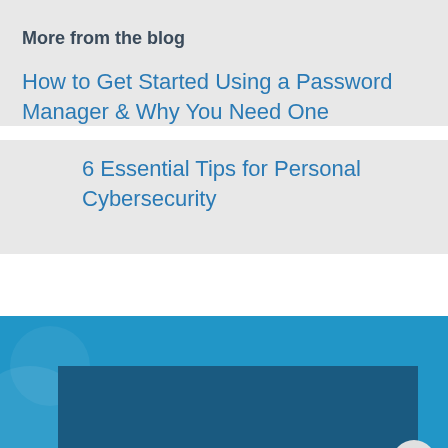More from the blog
How to Get Started Using a Password Manager & Why You Need One
6 Essential Tips for Personal Cybersecurity
Get A Free Quote For IT